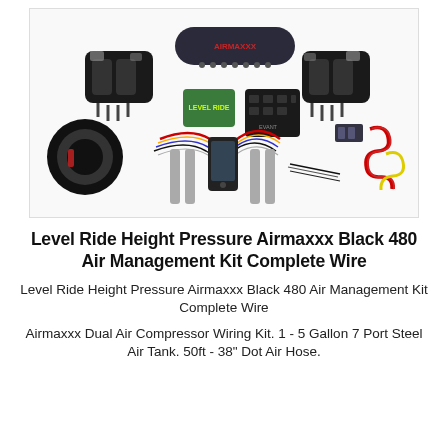[Figure (photo): Product photo of Level Ride Height Pressure Airmaxxx Black 480 Air Management Kit Complete Wire, showing dual black air compressors, a black steel air tank, valve manifold, wiring harness, air lines, and various components laid out on a white background.]
Level Ride Height Pressure Airmaxxx Black 480 Air Management Kit Complete Wire
Level Ride Height Pressure Airmaxxx Black 480 Air Management Kit Complete Wire
Airmaxxx Dual Air Compressor Wiring Kit. 1 - 5 Gallon 7 Port Steel Air Tank. 50ft - 38" Dot Air Hose.